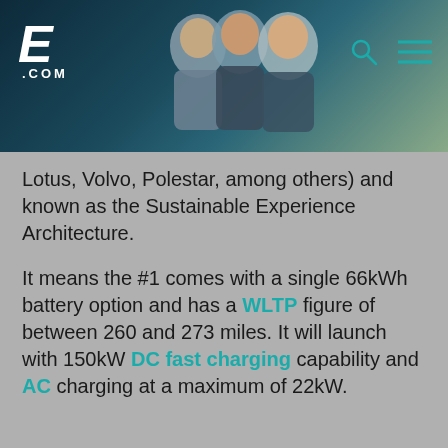E.COM website header with logo, people photos, search and menu icons
Lotus, Volvo, Polestar, among others) and known as the Sustainable Experience Architecture.

It means the #1 comes with a single 66kWh battery option and has a WLTP figure of between 260 and 273 miles. It will launch with 150kW DC fast charging capability and AC charging at a maximum of 22kW.
To give you the best experience and to help us improve Electrifying.com, we use cookies to provide insights into how the site is being used. You can allow all or manage them individually.
I Accept Cookies
Settings